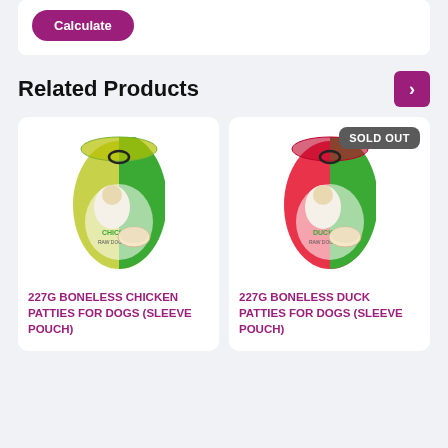[Figure (screenshot): Calculate button - purple rounded button with white bold text 'Calculate']
Related Products
[Figure (photo): 227G Boneless Chicken Patties for Dogs (Sleeve Pouch) - product bag with yellow and green packaging showing a dog and chicken patty]
227G BONELESS CHICKEN PATTIES FOR DOGS (SLEEVE POUCH)
[Figure (photo): 227G Boneless Duck Patties for Dogs (Sleeve Pouch) - product bag with red and green packaging showing a dog and duck patty, marked SOLD OUT]
227G BONELESS DUCK PATTIES FOR DOGS (SLEEVE POUCH)